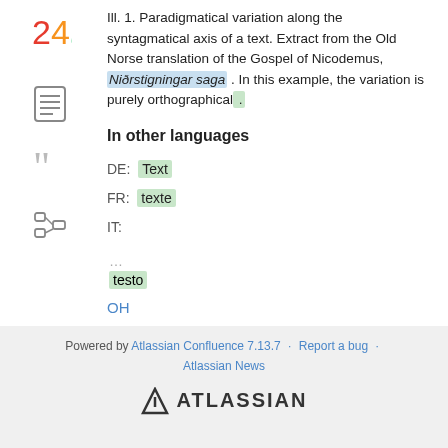Ill. 1. Paradigmatical variation along the syntagmatical axis of a text. Extract from the Old Norse translation of the Gospel of Nicodemus, Niðrstigningar saga . In this example, the variation is purely orthographical .
In other languages
DE: Text
FR: texte
IT:
...
testo
OH
Powered by Atlassian Confluence 7.13.7 · Report a bug · Atlassian News